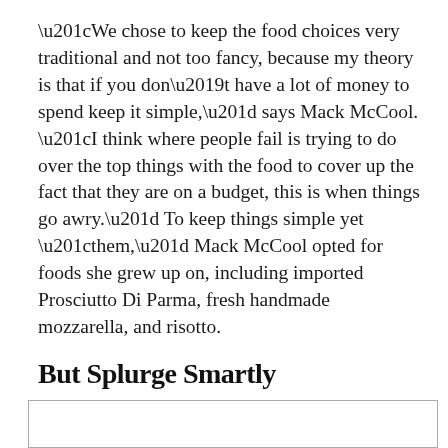“We chose to keep the food choices very traditional and not too fancy, because my theory is that if you don’t have a lot of money to spend keep it simple,” says Mack McCool. “I think where people fail is trying to do over the top things with the food to cover up the fact that they are on a budget, this is when things go awry.” To keep things simple yet “them,” Mack McCool opted for foods she grew up on, including imported Prosciutto Di Parma, fresh handmade mozzarella, and risotto.
But Splurge Smartly